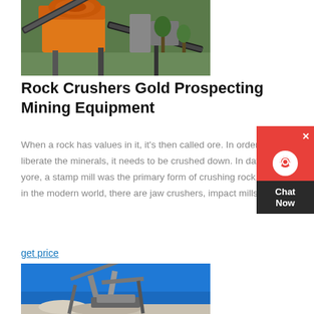[Figure (photo): Yellow and orange rock crusher / mining equipment machinery outdoors on grass, with conveyor belts and metal structures]
Rock Crushers Gold Prospecting Mining Equipment
When a rock has values in it, it's then called ore. In order to liberate the minerals, it needs to be crushed down. In days of yore, a stamp mill was the primary form of crushing rock, but in the modern world, there are jaw crushers, impact mills and
get price
[Figure (photo): Rock crusher / mining equipment against a vivid blue sky, with conveyor belts and industrial machinery]